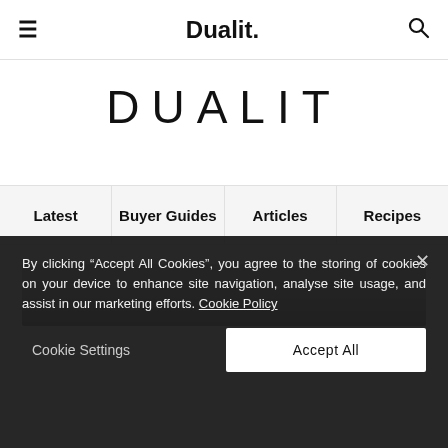≡  Dualit.  🔍
DUALIT
Latest | Buyer Guides | Articles | Recipes
[Figure (photo): Partial hero image showing a blurred product/kitchen scene in grayscale]
By clicking "Accept All Cookies", you agree to the storing of cookies on your device to enhance site navigation, analyse site usage, and assist in our marketing efforts. Cookie Policy
Cookie Settings  Accept All